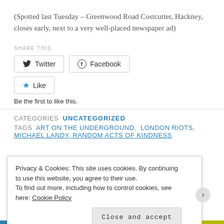(Spotted last Tuesday – Greenwood Road Costcutter, Hackney, closes early, next to a very well-placed newspaper ad)
SHARE THIS
[Figure (other): Twitter and Facebook share buttons, and a Like button with star icon]
Be the first to like this.
CATEGORIES  UNCATEGORIZED
TAGS  ART ON THE UNDERGROUND, LONDON RIOTS,
MICHAEL LANDY, RANDOM ACTS OF KINDNESS
Privacy & Cookies: This site uses cookies. By continuing to use this website, you agree to their use.
To find out more, including how to control cookies, see here: Cookie Policy
Close and accept